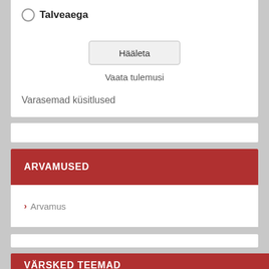Talveaega
Hääleta
Vaata tulemusi
Varasemad küsitlused
ARVAMUSED
Arvamus
VÄRSKED TEEMAD